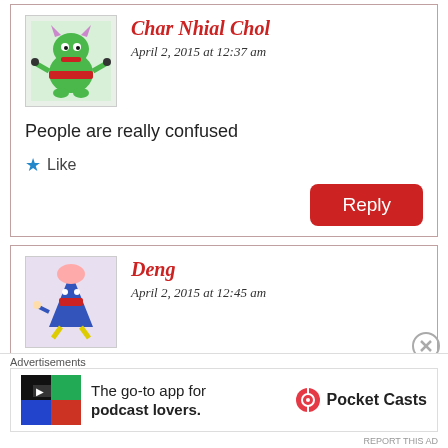Char Nhial Chol
April 2, 2015 at 12:37 am
People are really confused
Like
Reply
Deng
April 2, 2015 at 12:45 am
Dinka council of Elders, Shame to America and Nuers spoilers, we can not surrender to any Nuer mobilizer, this is the fruits of our
Advertisements
The go-to app for podcast lovers.
Pocket Casts